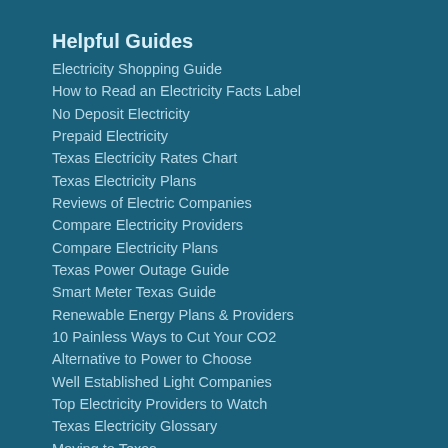Helpful Guides
Electricity Shopping Guide
How to Read an Electricity Facts Label
No Deposit Electricity
Prepaid Electricity
Texas Electricity Rates Chart
Texas Electricity Plans
Reviews of Electric Companies
Compare Electricity Providers
Compare Electricity Plans
Texas Power Outage Guide
Smart Meter Texas Guide
Renewable Energy Plans & Providers
10 Painless Ways to Cut Your CO2
Alternative to Power to Choose
Well Established Light Companies
Top Electricity Providers to Watch
Texas Electricity Glossary
Moving to Texas
Texas Cities
Houston Electricity
Dallas Electricity
Corpus Christi Electricity
Fort Worth Electricity
Arlington Electricity